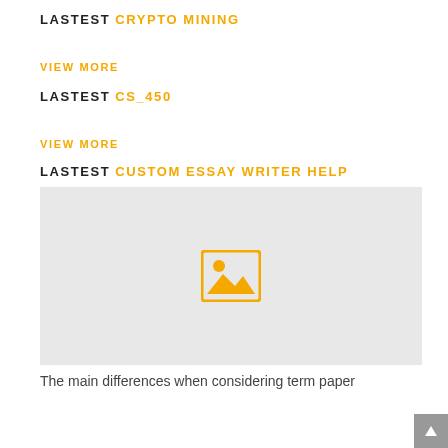LASTEST CRYPTO MINING
VIEW MORE
LASTEST CS_450
VIEW MORE
LASTEST CUSTOM ESSAY WRITER HELP
[Figure (illustration): Image placeholder icon with yellow border and mountain/sun graphic on gray background]
The main differences when considering term paper